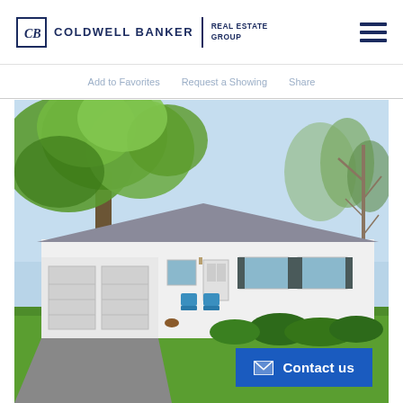Coldwell Banker Real Estate Group
Add to Favorites  Request a Showing  Share
[Figure (photo): Exterior photo of a single-story white ranch-style house with attached two-car garage, large trees in foreground, green lawn, and blue sky background. Blue chairs visible on front porch area.]
Contact us